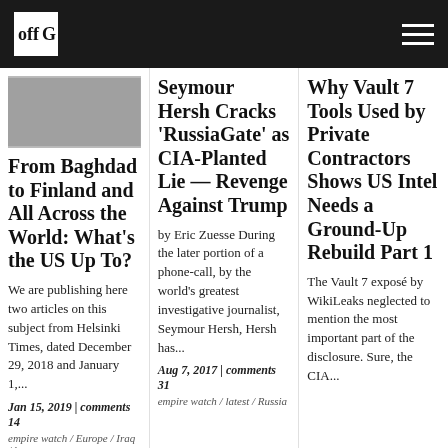offG [logo]
[Figure (photo): Partial image visible at top of first column]
From Baghdad to Finland and All Across the World: What's the US Up To?
We are publishing here two articles on this subject from Helsinki Times, dated December 29, 2018 and January 1,...
Jan 15, 2019 | comments 14
empire watch / Europe / Iraq / latest
Seymour Hersh Cracks 'RussiaGate' as CIA-Planted Lie — Revenge Against Trump
by Eric Zuesse During the later portion of a phone-call, by the world's greatest investigative journalist, Seymour Hersh, Hersh has...
Aug 7, 2017 | comments 31
empire watch / latest / Russia
Why Vault 7 Tools Used by Private Contractors Shows US Intel Needs a Ground-Up Rebuild Part 1
The Vault 7 exposé by WikiLeaks neglected to mention the most important part of the disclosure. Sure, the CIA...